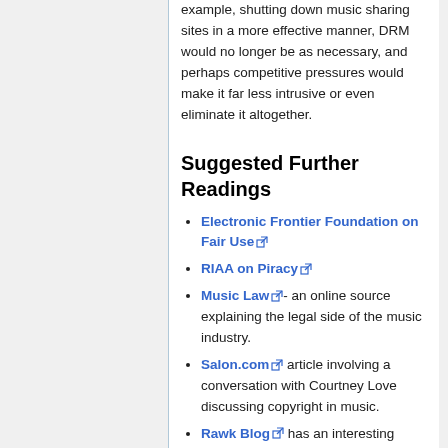example, shutting down music sharing sites in a more effective manner, DRM would no longer be as necessary, and perhaps competitive pressures would make it far less intrusive or even eliminate it altogether.
Suggested Further Readings
Electronic Frontier Foundation on Fair Use
RIAA on Piracy
Music Law- an online source explaining the legal side of the music industry.
Salon.com article involving a conversation with Courtney Love discussing copyright in music.
Rawk Blog has an interesting discussion of the effect of illegal